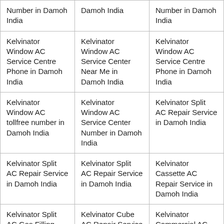| Number in Damoh India | Damoh India | Number in Damoh India |
| Kelvinator Window AC Service Centre Phone in Damoh India | Kelvinator Window AC Service Center Near Me in Damoh India | Kelvinator Window AC Service Centre Phone in Damoh India |
| Kelvinator Window AC tollfree number in Damoh India | Kelvinator Window AC Service Center Number in Damoh India | Kelvinator Split AC Repair Service in Damoh India |
| Kelvinator Split AC Repair Service in Damoh India | Kelvinator Split AC Repair Service in Damoh India | Kelvinator Cassette AC Repair Service in Damoh India |
| Kelvinator Split AC Gas Filling | Kelvinator Cube AC Repair Service | Kelvinator Commercial AC |